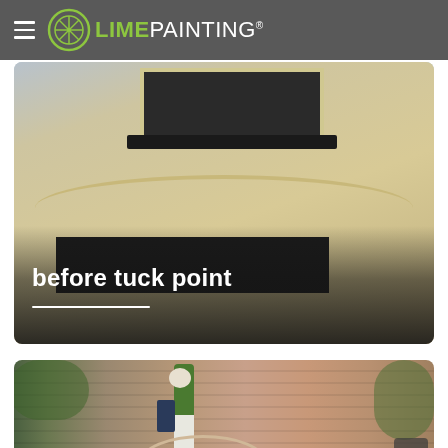LIME PAINTING
[Figure (photo): Before tuck point photo showing the exterior facade of a building with weathered cream/beige stucco and a dark window, with 'before tuck point' text label overlaid at the bottom.]
[Figure (photo): Photo showing a worker in green jacket and white pants on scaffolding doing tuck pointing work on a red brick building facade with arched decorative elements.]